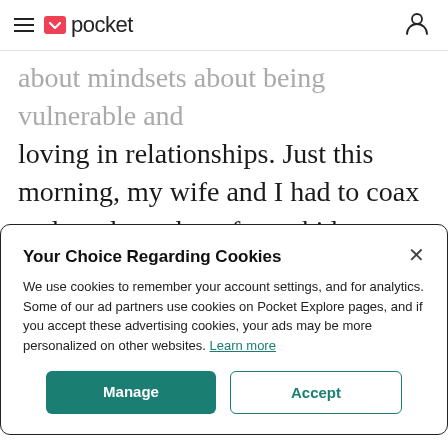pocket (with hamburger menu and user icon)
about mindsets about being vulnerable and loving in relationships. Just this morning, my wife and I had to coax and prod our three foster kids to say one nice thing about each other, and to say they loved each other.
Your Choice Regarding Cookies
We use cookies to remember your account settings, and for analytics. Some of our ad partners use cookies on Pocket Explore pages, and if you accept these advertising cookies, your ads may be more personalized on other websites. Learn more
Manage | Accept